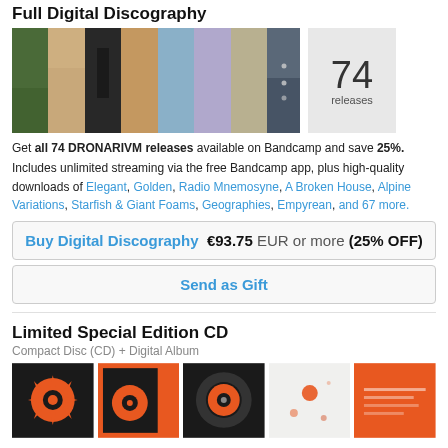Full Digital Discography
[Figure (photo): Collage of album artwork strips and a releases count box showing 74 releases]
Get all 74 DRONARIVM releases available on Bandcamp and save 25%.
Includes unlimited streaming via the free Bandcamp app, plus high-quality downloads of Elegant, Golden, Radio Mnemosyne, A Broken House, Alpine Variations, Starfish & Giant Foams, Geographies, Empyrean, and 67 more.
Buy Digital Discography  €93.75 EUR or more (25% OFF)
Send as Gift
Limited Special Edition CD
Compact Disc (CD) + Digital Album
[Figure (photo): Row of Limited Special Edition CD product photos showing black and orange album artwork]